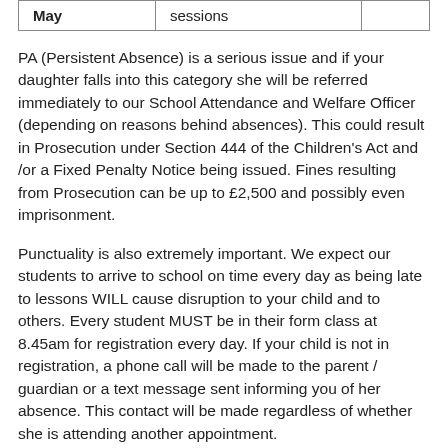| May | sessions |  |
| --- | --- | --- |
PA (Persistent Absence) is a serious issue and if your daughter falls into this category she will be referred immediately to our School Attendance and Welfare Officer (depending on reasons behind absences). This could result in Prosecution under Section 444 of the Children's Act and /or a Fixed Penalty Notice being issued. Fines resulting from Prosecution can be up to £2,500 and possibly even imprisonment.
Punctuality is also extremely important. We expect our students to arrive to school on time every day as being late to lessons WILL cause disruption to your child and to others. Every student MUST be in their form class at 8.45am for registration every day. If your child is not in registration, a phone call will be made to the parent / guardian or a text message sent informing you of her absence. This contact will be made regardless of whether she is attending another appointment.